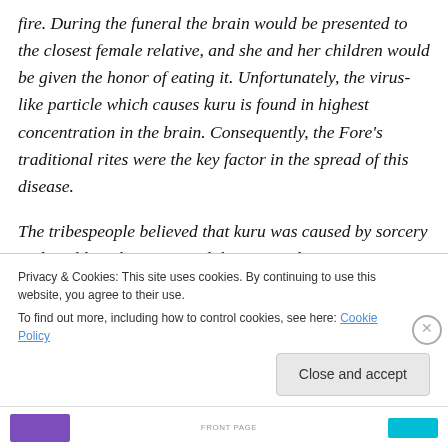fire. During the funeral the brain would be presented to the closest female relative, and she and her children would be given the honor of eating it. Unfortunately, the virus-like particle which causes kuru is found in highest concentration in the brain. Consequently, the Fore’s traditional rites were the key factor in the spread of this disease.
The tribespeople believed that kuru was caused by sorcery and could not be convinced that it was due to eating human remains. However, despite this, most of
Privacy & Cookies: This site uses cookies. By continuing to use this website, you agree to their use.
To find out more, including how to control cookies, see here: Cookie Policy